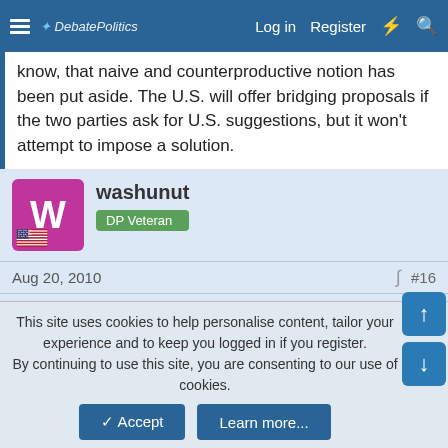DebatePolitics — Log in  Register
know, that naive and counterproductive notion has been put aside. The U.S. will offer bridging proposals if the two parties ask for U.S. suggestions, but it won't attempt to impose a solution.
washunut
DP Veteran
Aug 20, 2010  #16
donsutherland1 said:
I don't believe any attempt will be made to impose a solution. Early on, there had been rumors toward that end. But as far as I know, that naive and counterproductive notion has been put aside. The U.S. will offer bridging proposals if the two parties ask for U.S. suggestions, but it won't attempt to impose a solution.
This site uses cookies to help personalise content, tailor your experience and to keep you logged in if you register.
By continuing to use this site, you are consenting to our use of cookies.